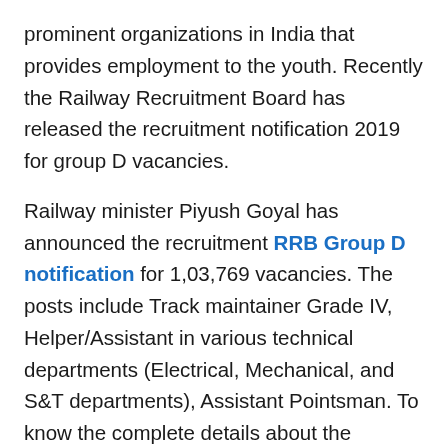prominent organizations in India that provides employment to the youth. Recently the Railway Recruitment Board has released the recruitment notification 2019 for group D vacancies.

Railway minister Piyush Goyal has announced the recruitment RRB Group D notification for 1,03,769 vacancies. The posts include Track maintainer Grade IV, Helper/Assistant in various technical departments (Electrical, Mechanical, and S&T departments), Assistant Pointsman. To know the complete details about the Railway group D notification just scroll down the page and get the information.